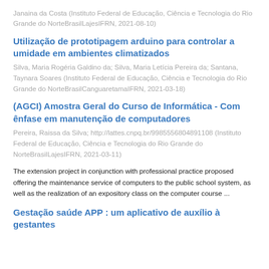Janaina da Costa (Instituto Federal de Educação, Ciência e Tecnologia do Rio Grande do NorteBrasilLajesIFRN, 2021-08-10)
Utilização de prototipagem arduino para controlar a umidade em ambientes climatizados
Silva, Maria Rogéria Galdino da; Silva, Maria Letícia Pereira da; Santana, Taynara Soares (Instituto Federal de Educação, Ciência e Tecnologia do Rio Grande do NorteBrasilCanguaretamaIFRN, 2021-03-18)
(AGCI) Amostra Geral do Curso de Informática - Com ênfase em manutenção de computadores
Pereira, Raissa da Silva; http://lattes.cnpq.br/9985556804891108 (Instituto Federal de Educação, Ciência e Tecnologia do Rio Grande do NorteBrasilLajesIFRN, 2021-03-11)
The extension project in conjunction with professional practice proposed offering the maintenance service of computers to the public school system, as well as the realization of an expository class on the computer course ...
Gestação saúde APP : um aplicativo de auxílio à gestantes